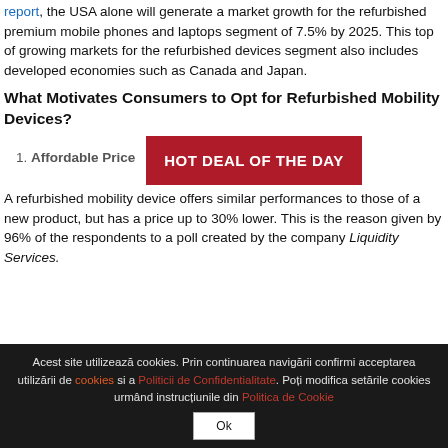report, the USA alone will generate a market growth for the refurbished premium mobile phones and laptops segment of 7.5% by 2025. This top of growing markets for the refurbished devices segment also includes developed economies such as Canada and Japan.
What Motivates Consumers to Opt for Refurbished Mobility Devices?
1. Affordable Price
[Figure (other): HOT DEAL OF THE DAY button in red]
A refurbished mobility device offers similar performances to those of a new product, but has a price up to 30% lower. This is the reason given by 96% of the respondents to a poll created by the company Liquidity Services.
Acest site utilizează cookies. Prin continuarea navigării confirmi acceptarea utilizării de cookies si a Politicii de Confidentialitate. Poți modifica setările cookies urmând instrucțiunile din Politica de Cookie